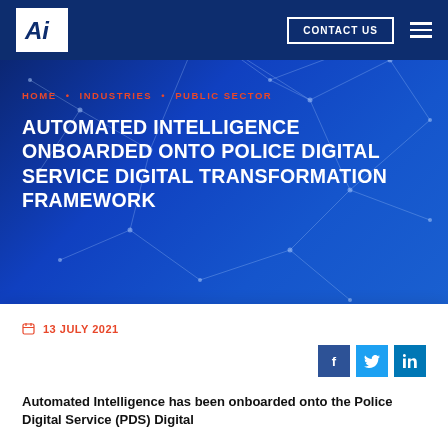[Figure (logo): Automated Intelligence logo: white box with stylized 'Ai' letters in dark blue]
CONTACT US
[Figure (illustration): Dark blue hero background with white network/node lines connecting dots across the surface]
HOME • INDUSTRIES • PUBLIC SECTOR
AUTOMATED INTELLIGENCE ONBOARDED ONTO POLICE DIGITAL SERVICE DIGITAL TRANSFORMATION FRAMEWORK
13 JULY 2021
Automated Intelligence has been onboarded onto the Police Digital Service (PDS) Digital...